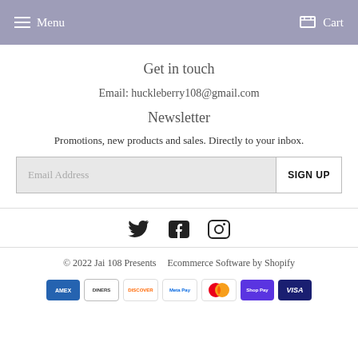Menu  Cart
Get in touch
Email: huckleberry108@gmail.com
Newsletter
Promotions, new products and sales. Directly to your inbox.
Email Address  SIGN UP
[Figure (infographic): Social media icons: Twitter, Facebook, Instagram]
© 2022 Jai 108 Presents   Ecommerce Software by Shopify
[Figure (infographic): Payment method badges: AMEX, Diners Club, Discover, Meta Pay, Mastercard, Shop Pay, Visa]